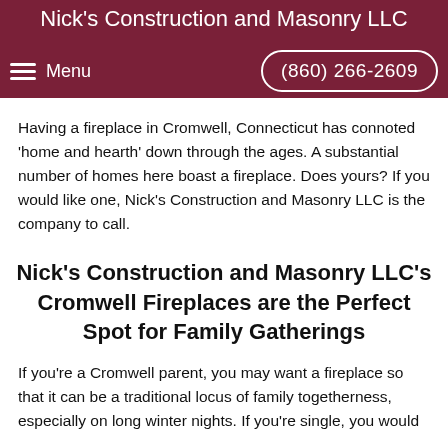Nick's Construction and Masonry LLC
Having a fireplace in Cromwell, Connecticut has connoted 'home and hearth' down through the ages. A substantial number of homes here boast a fireplace. Does yours? If you would like one, Nick's Construction and Masonry LLC is the company to call.
Nick's Construction and Masonry LLC's Cromwell Fireplaces are the Perfect Spot for Family Gatherings
If you're a Cromwell parent, you may want a fireplace so that it can be a traditional locus of family togetherness, especially on long winter nights. If you're single, you would